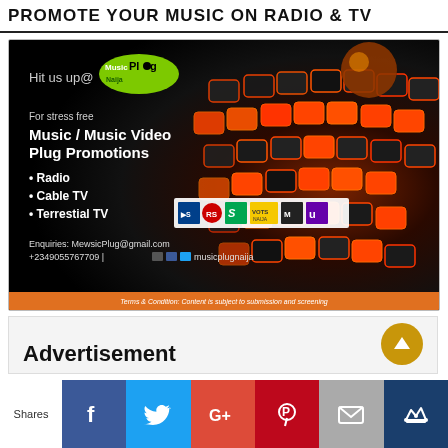PROMOTE YOUR MUSIC ON RADIO & TV
[Figure (advertisement): MusicPlug Naija advertisement banner. Dark background with orange glowing keyboard. Text: 'Hit us up@ MusicPlug Naija. For stress free Music / Music Video Plug Promotions. Radio, Cable TV, Terrestial TV. Enquiries: MewsicPlug@gmail.com +2349055767709 | musicplugnaija. Terms & Condition: Content is subject to submission and screening.']
Advertisement